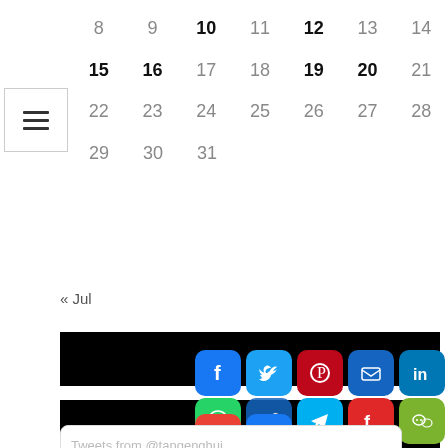| 8 | 9 | 10 | 11 | 12 | 13 | 14 |
| --- | --- | --- | --- | --- | --- | --- |
| 15 | 16 | 17 | 18 | 19 | 20 | 21 |
| 22 | 23 | 24 | 25 | 26 | 27 | 28 |
| 29 | 30 | 31 |  |  |  |  |
« Jul
[Figure (screenshot): Black banner bar]
[Figure (infographic): Social media share buttons: Facebook, Twitter, Pinterest, Email, LinkedIn, WhatsApp, Copy Link, Telegram, Flipboard, WeChat, Gmail, More]
Tweets from @tangenghui